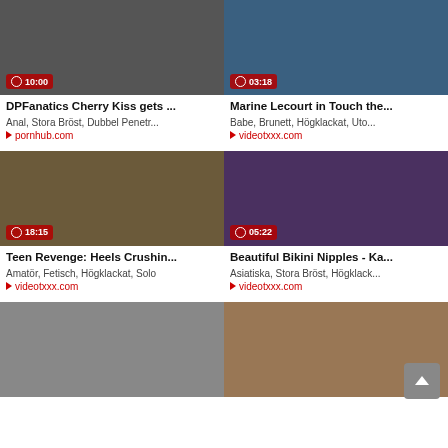[Figure (screenshot): Video thumbnail with duration 10:00 - DPFanatics Cherry Kiss]
DPFanatics Cherry Kiss gets ...
Anal, Stora Bröst, Dubbel Penetr...
pornhub.com
[Figure (screenshot): Video thumbnail with duration 03:18 - Marine Lecourt in Touch the...]
Marine Lecourt in Touch the...
Babe, Brunett, Högklackat, Uto...
videotxxx.com
[Figure (screenshot): Video thumbnail with duration 18:15 - Teen Revenge: Heels Crushin...]
Teen Revenge: Heels Crushin...
Amatör, Fetisch, Högklackat, Solo
videotxxx.com
[Figure (screenshot): Video thumbnail with duration 05:22 - Beautiful Bikini Nipples - Ka...]
Beautiful Bikini Nipples - Ka...
Asiatiska, Stora Bröst, Högklack...
videotxxx.com
[Figure (screenshot): Video thumbnail bottom left]
[Figure (screenshot): Video thumbnail bottom right]